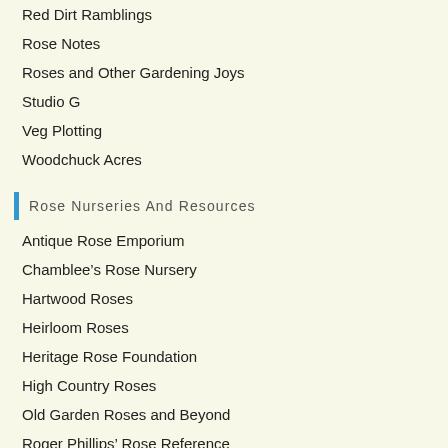Red Dirt Ramblings
Rose Notes
Roses and Other Gardening Joys
Studio G
Veg Plotting
Woodchuck Acres
Rose Nurseries And Resources
Antique Rose Emporium
Chamblee’s Rose Nursery
Hartwood Roses
Heirloom Roses
Heritage Rose Foundation
High Country Roses
Old Garden Roses and Beyond
Roger Phillips’ Rose Reference
Rogue Valley Roses
Shelburne Farm and Garden
Vintage Gardens Antique Roses